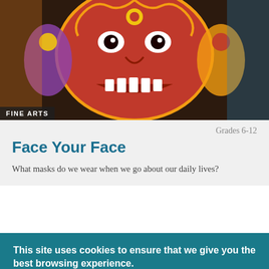[Figure (photo): Colorful traditional mask with red, gold, and purple decorative elements, full width at top of page]
FINE ARTS
Grades 6-12
Face Your Face
What masks do we wear when we go about our daily lives?
This site uses cookies to ensure that we give you the best browsing experience.
By continuing to use this site, you are agreeing to our use of cookies. For more information, please see our Cookie Policy.
OK